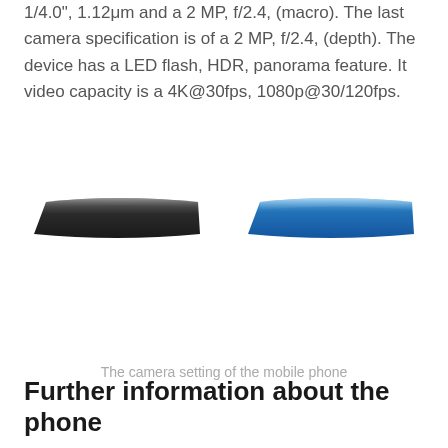1/4.0", 1.12μm and a 2 MP, f/2.4, (macro). The last camera specification is of a 2 MP, f/2.4, (depth). The device has a LED flash, HDR, panorama feature. It video capacity is a 4K@30fps, 1080p@30/120fps.
[Figure (photo): Two smartphones shown in profile/side view. Left phone appears dark/black colored, right phone appears blue colored. Both shown as thin horizontal strips.]
The camera setting of the mobile phone
Further information about the phone